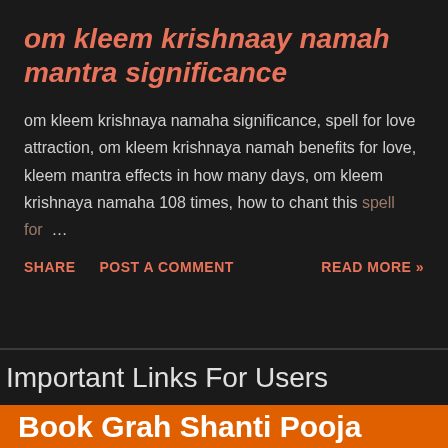om kleem krishnaay namah mantra significance
om kleem krishnaya namaha significance, spell for love attraction, om kleem krishnaya namah benefits for love, kleem mantra effects in how many days, om kleem krishnaya namaha 108 times, how to chant this spell for ...
SHARE  POST A COMMENT  READ MORE »
Important Links For Users
Book Grah Shanti Pooja